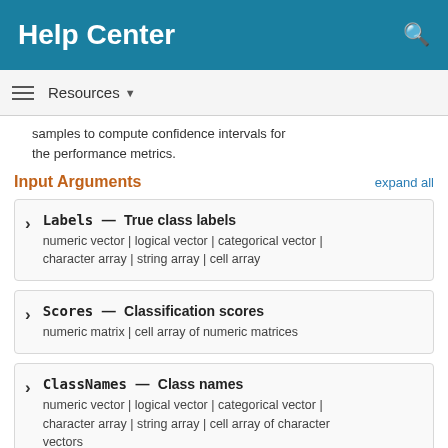Help Center
Resources ▾
samples to compute confidence intervals for the performance metrics.
Input Arguments
expand all
Labels — True class labels
numeric vector | logical vector | categorical vector | character array | string array | cell array
Scores — Classification scores
numeric matrix | cell array of numeric matrices
ClassNames — Class names
numeric vector | logical vector | categorical vector | character array | string array | cell array of character vectors